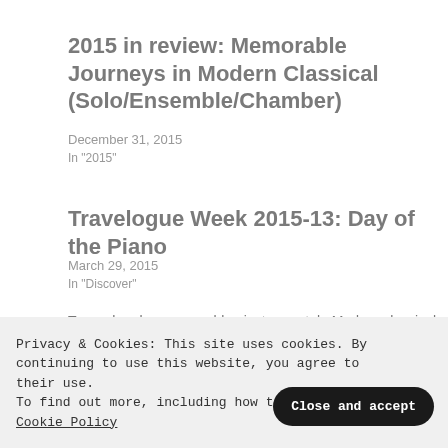2015 in review: Memorable Journeys in Modern Classical (Solo/Ensemble/Chamber)
December 31, 2015
In "2015"
Travelogue Week 2015-13: Day of the Piano
March 29, 2015
In "Discover"
Tags:  chamber ,  ensemble ,  instrumental ,  Modern classical ,  music ,  piano
Privacy & Cookies: This site uses cookies. By continuing to use this website, you agree to their use. To find out more, including how to contro… Cookie Policy
Close and accept